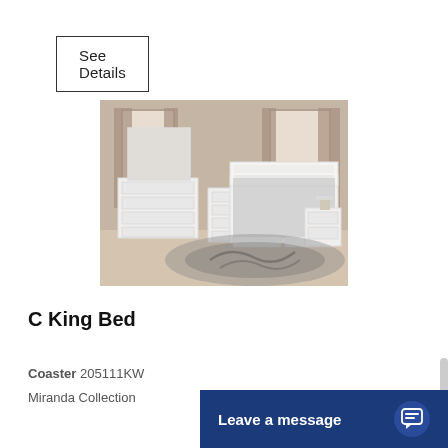See Details
[Figure (photo): White bedroom furniture set including a king bed with storage drawers, dresser with mirror, chest, and nightstand in a beige-toned room with large windows and grey area rug.]
C King Bed
Coaster 205111KW
Miranda Collection
Leave a message